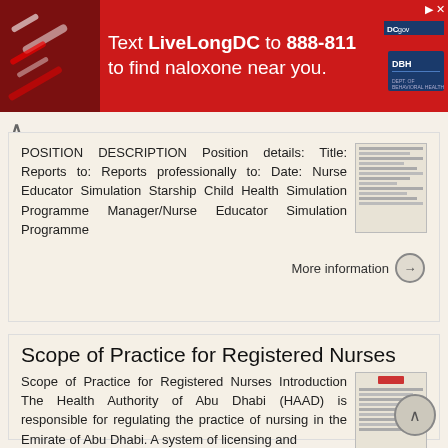[Figure (infographic): Red advertisement banner: Text LiveLongDC to 888-811 to find naloxone near you. Contains DC and DBH logos on the right, and a photo of naloxone on the left.]
POSITION DESCRIPTION Position details: Title: Reports to: Reports professionally to: Date: Nurse Educator Simulation Starship Child Health Simulation Programme Manager/Nurse Educator Simulation Programme
More information →
Scope of Practice for Registered Nurses
Scope of Practice for Registered Nurses Introduction The Health Authority of Abu Dhabi (HAAD) is responsible for regulating the practice of nursing in the Emirate of Abu Dhabi. A system of licensing and
More information →